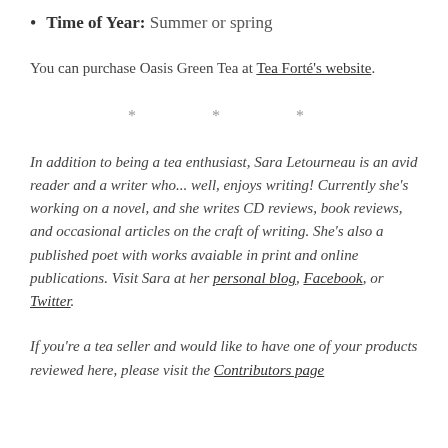Time of Year: Summer or spring
You can purchase Oasis Green Tea at Tea Forté's website.
* * *
In addition to being a tea enthusiast, Sara Letourneau is an avid reader and a writer who... well, enjoys writing! Currently she's working on a novel, and she writes CD reviews, book reviews, and occasional articles on the craft of writing. She's also a published poet with works avaiable in print and online publications. Visit Sara at her personal blog, Facebook, or Twitter.
If you're a tea seller and would like to have one of your products reviewed here, please visit the Contributors page